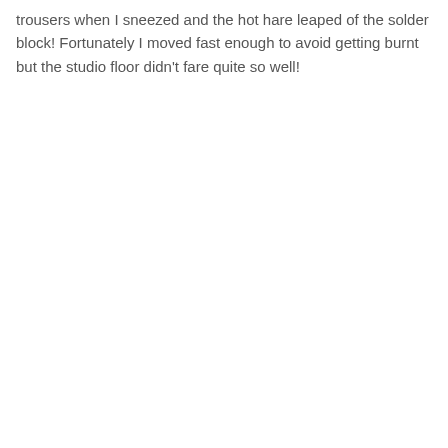trousers when I sneezed and the hot hare leaped of the solder block! Fortunately I moved fast enough to avoid getting burnt but the studio floor didn't fare quite so well!